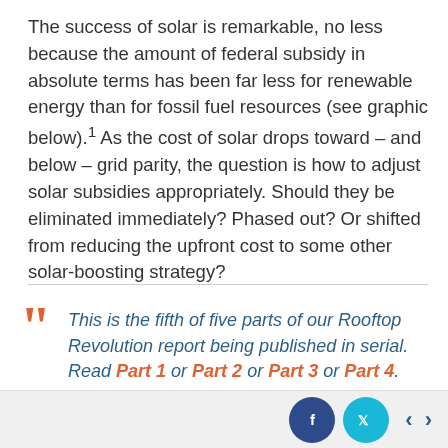The success of solar is remarkable, no less because the amount of federal subsidy in absolute terms has been far less for renewable energy than for fossil fuel resources (see graphic below).1 As the cost of solar drops toward – and below – grid parity, the question is how to adjust solar subsidies appropriately. Should they be eliminated immediately? Phased out? Or shifted from reducing the upfront cost to some other solar-boosting strategy?
This is the fifth of five parts of our Rooftop Revolution report being published in serial. Read Part 1 or Part 2 or Part 3 or Part 4. Download the